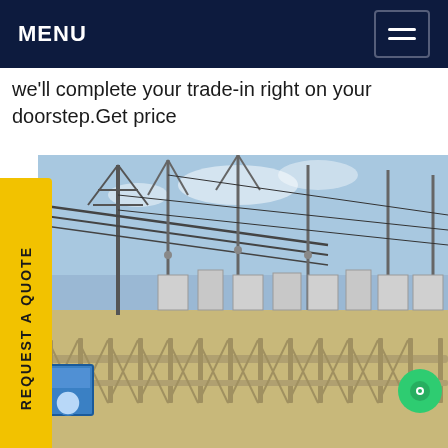MENU
we'll complete your trade-in right on your doorstep.Get price
REQUEST A QUOTE
[Figure (photo): Outdoor electrical substation with high-voltage transmission towers, power lines, transformers, switchgear equipment, and a metal railing fence in the foreground. Blue sky visible above. A blue warning sign is visible near the fence.]